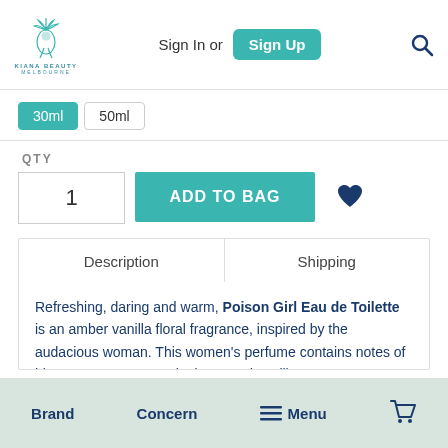Sign In or Sign Up [search icon]
[Figure (logo): Kiana Beauty Melbourne logo with peacock illustration]
30ml (selected)
50ml
QTY
1
ADD TO BAG
Description | Shipping
Refreshing, daring and warm, Poison Girl Eau de Toilette is an amber vanilla floral fragrance, inspired by the audacious woman. This women's perfume contains notes of bitter orange, rose, tonka bean and vanilla.
Product details
Brand   Concern   Menu   [cart icon]